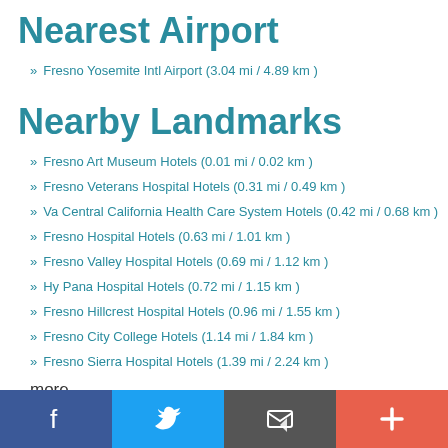Nearest Airport
» Fresno Yosemite Intl Airport (3.04 mi / 4.89 km )
Nearby Landmarks
» Fresno Art Museum Hotels (0.01 mi / 0.02 km )
» Fresno Veterans Hospital Hotels (0.31 mi / 0.49 km )
» Va Central California Health Care System Hotels (0.42 mi / 0.68 km )
» Fresno Hospital Hotels (0.63 mi / 1.01 km )
» Fresno Valley Hospital Hotels (0.69 mi / 1.12 km )
» Hy Pana Hospital Hotels (0.72 mi / 1.15 km )
» Fresno Hillcrest Hospital Hotels (0.96 mi / 1.55 km )
» Fresno City College Hotels (1.14 mi / 1.84 km )
» Fresno Sierra Hospital Hotels (1.39 mi / 2.24 km )
more
Social share bar: Facebook, Twitter, Email, Plus